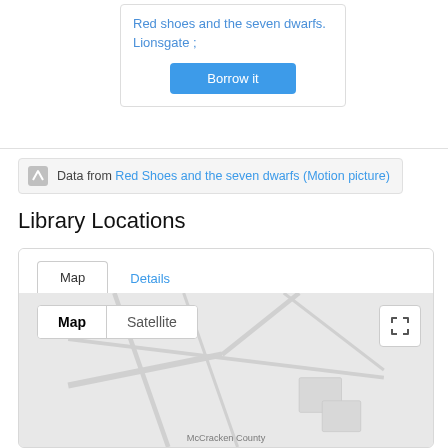Red shoes and the seven dwarfs. Lionsgate ;
Borrow it
Data from Red Shoes and the seven dwarfs (Motion picture)
Library Locations
[Figure (map): Google Maps-style interface showing a Library Locations map with Map and Satellite toggle buttons, a fullscreen button, and a street map view with McCracken County label visible]